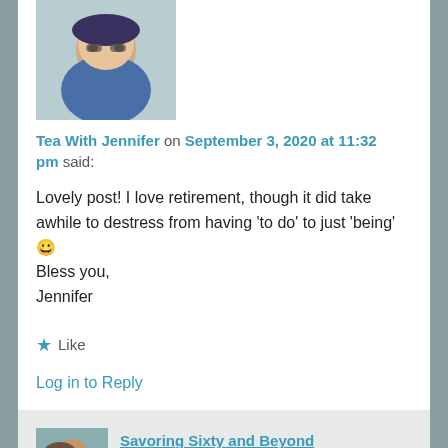[Figure (photo): Profile photo of Tea With Jennifer — woman with blonde hair and sunglasses, wearing a blue top, hat]
Tea With Jennifer on September 3, 2020 at 11:32 pm said:
Lovely post! I love retirement, though it did take awhile to destress from having 'to do' to just 'being' 😀
Bless you,
Jennifer
★ Like
Log in to Reply
[Figure (photo): Profile photo of Savoring Sixty and Beyond — two people outdoors]
Savoring Sixty and Beyond on September 4, 2020 at 8:15 am said:
Thanks! I am finding each day a little easier especially when I am reminded of